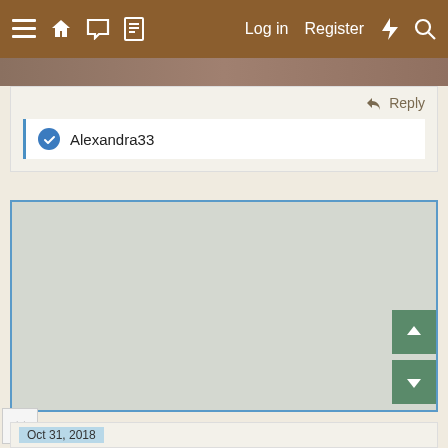≡ 🏠 💬 📄  Log in  Register  ⚡ 🔍
[Figure (screenshot): Forum web interface screenshot showing navigation bar, reply button, Alexandra33 like entry, and a map/content area with up/down navigation buttons and a close button]
Reply
Alexandra33
Oct 31, 2018